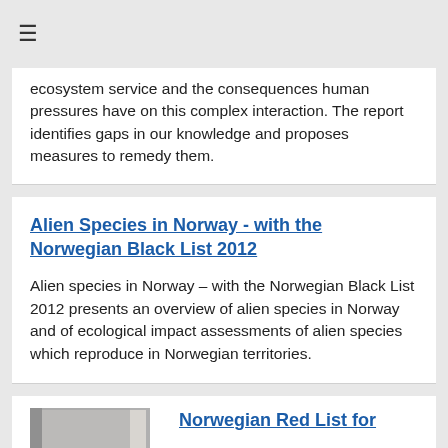ecosystem service and the consequences human pressures have on this complex interaction. The report identifies gaps in our knowledge and proposes measures to remedy them.
Alien Species in Norway - with the Norwegian Black List 2012
Alien species in Norway – with the Norwegian Black List 2012 presents an overview of alien species in Norway and of ecological impact assessments of alien species which reproduce in Norwegian territories.
[Figure (photo): Book cover image showing a red and gray design, partially visible at the bottom of the page]
Norwegian Red List for